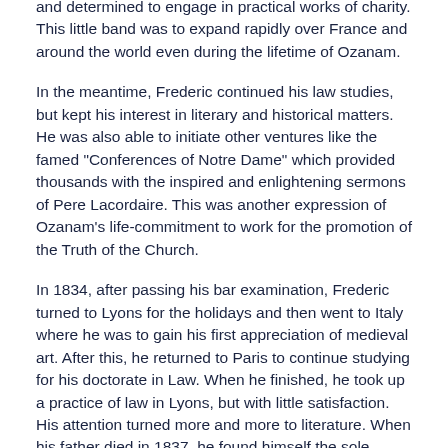and determined to engage in practical works of charity. This little band was to expand rapidly over France and around the world even during the lifetime of Ozanam.
In the meantime, Frederic continued his law studies, but kept his interest in literary and historical matters. He was also able to initiate other ventures like the famed "Conferences of Notre Dame" which provided thousands with the inspired and enlightening sermons of Pere Lacordaire. This was another expression of Ozanam's life-commitment to work for the promotion of the Truth of the Church.
In 1834, after passing his bar examination, Frederic turned to Lyons for the holidays and then went to Italy where he was to gain his first appreciation of medieval art. After this, he returned to Paris to continue studying for his doctorate in Law. When he finished, he took up a practice of law in Lyons, but with little satisfaction. His attention turned more and more to literature. When his father died in 1837, he found himself the sole support of his mother which kept him in the field of law to make a